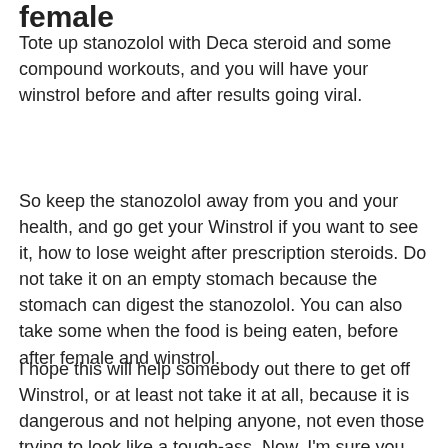female
Tote up stanozolol with Deca steroid and some compound workouts, and you will have your winstrol before and after results going viral.
So keep the stanozolol away from you and your health, and go get your Winstrol if you want to see it, how to lose weight after prescription steroids. Do not take it on an empty stomach because the stomach can digest the stanozolol. You can also take some when the food is being eaten, before after female and winstrol.
I hope this will help somebody out there to get off Winstrol, or at least not take it at all, because it is dangerous and not helping anyone, not even those trying to look like a tough-ass. Now, I'm sure you have to do work on yourself too, but when you see a result like I saw before, I'm sure you'll be